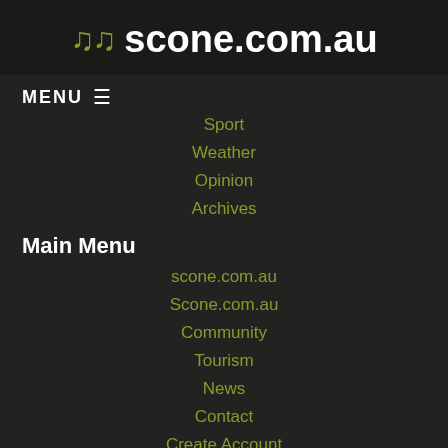scone.com.au
MENU ≡
Sport
Weather
Opinion
Archives
Main Menu
scone.com.au
Scone.com.au
Community
Tourism
News
Contact
Create Account
Login